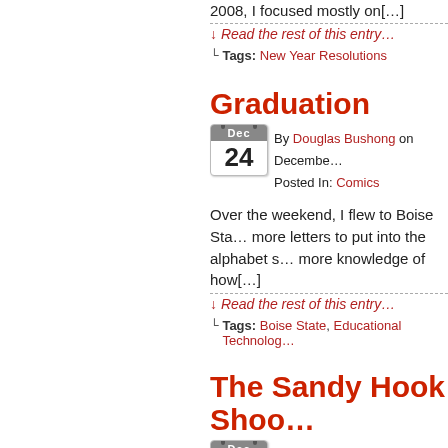2008, I focused mostly on[…]
↓ Read the rest of this entry…
└ Tags: New Year Resolutions
Graduation
By Douglas Bushong on December 24. Posted In: Comics
Over the weekend, I flew to Boise Sta… more letters to put into the alphabet s… more knowledge of how[…]
↓ Read the rest of this entry…
└ Tags: Boise State, Educational Technolog…
The Sandy Hook Shoo…
By Douglas Bushong on December 17. Posted In: Comics
As we mourn the Sandy Hook shooti…